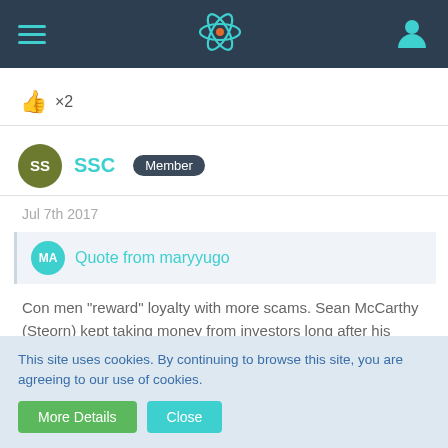Navigation bar with hamburger menu, site logo, and user icon
👍 ×2
SS  SSC  Member
Jul 7th 2017
MA  Quote from maryyugo
Con men "reward" loyalty with more scams. Sean McCarthy (Steorn) kept taking money from investors long after his "product" (Orbo) had failed over and over again and had never been proven to work over the course of six years. And believers still gave him some. He thought it was hilarious and said so on the Moletrap forum. Rossi will try to do the same if
This site uses cookies. By continuing to browse this site, you are agreeing to our use of cookies.